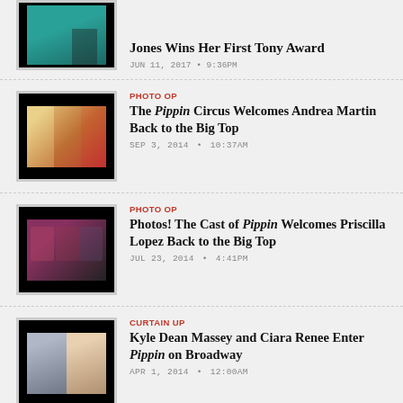[Figure (photo): Woman in teal gown at awards event]
Jones Wins Her First Tony Award
JUN 11, 2017 • 9:36PM
[Figure (photo): Three women (Pippin cast) against red and black background]
PHOTO OP
The Pippin Circus Welcomes Andrea Martin Back to the Big Top
SEP 3, 2014 • 10:37AM
[Figure (photo): Three Pippin cast members smiling]
PHOTO OP
Photos! The Cast of Pippin Welcomes Priscilla Lopez Back to the Big Top
JUL 23, 2014 • 4:41PM
[Figure (photo): Kyle Dean Massey and Ciara Renee headshots side by side]
CURTAIN UP
Kyle Dean Massey and Ciara Renee Enter Pippin on Broadway
APR 1, 2014 • 12:00AM